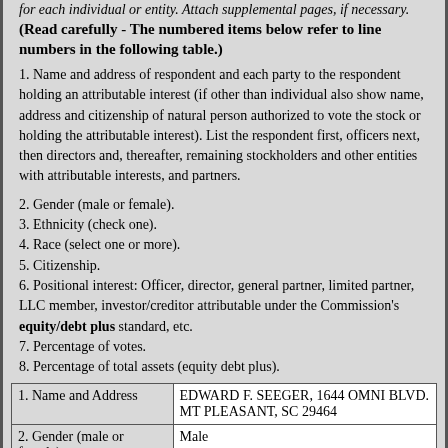for each individual or entity. Attach supplemental pages, if necessary.
(Read carefully - The numbered items below refer to line numbers in the following table.)
1. Name and address of respondent and each party to the respondent holding an attributable interest (if other than individual also show name, address and citizenship of natural person authorized to vote the stock or holding the attributable interest). List the respondent first, officers next, then directors and, thereafter, remaining stockholders and other entities with attributable interests, and partners.
2. Gender (male or female).
3. Ethnicity (check one).
4. Race (select one or more).
5. Citizenship.
6. Positional interest: Officer, director, general partner, limited partner, LLC member, investor/creditor attributable under the Commission's equity/debt plus standard, etc.
7. Percentage of votes.
8. Percentage of total assets (equity debt plus).
| Field | Value |
| --- | --- |
| 1. Name and Address | EDWARD F. SEEGER, 1644 OMNI BLVD. MT PLEASANT, SC 29464 |
| 2. Gender (male or female) | Male |
| 3. Ethnicity (check one) | ○ Hispanic or Latino
● Not Hispanic or Latino |
| 4. Race (select one or more) | ○ American Indian or Alaska Native |